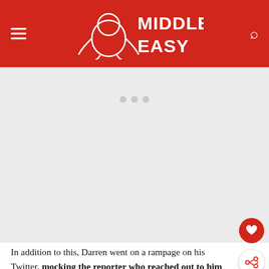Middle Easy
[Figure (other): Advertisement placeholder area with three grey dots]
In addition to this, Darren went on a rampage on his Twitter, mocking the reporter who reached out to him for comment. He also retweeted a handful of posts, where people defended him and spoke to how much he did not care about being